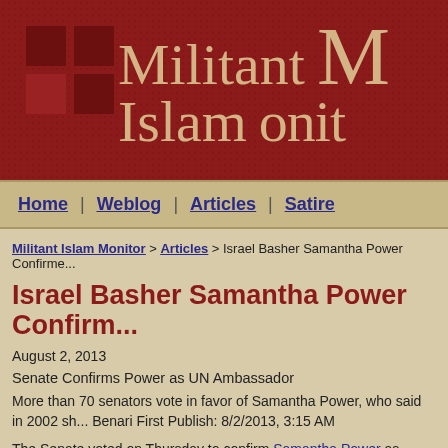[Figure (logo): Militant Islam Monitor website banner/logo with dark red dotted background, decorative squares on left, and large serif text reading 'Militant Islam Monitor' in tan/beige color]
Home | Weblog | Articles | Satire
Militant Islam Monitor > Articles > Israel Basher Samantha Power Confirmed...
Israel Basher Samantha Power Confirm...
August 2, 2013
Senate Confirms Power as UN Ambassador
More than 70 senators vote in favor of Samantha Power, who said in 2002 sh... Benari First Publish: 8/2/2013, 3:15 AM
The Senate voted on Thursday to confirm Samantha Power as President Bar...
Reuters reported that as voting continued, more than 70 of the 100 senators...
She needed only 51 votes to win confirmation.